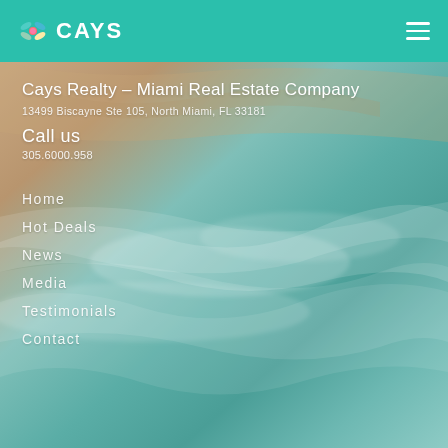CAYS
[Figure (photo): Aerial or close-up photo of ocean waves with teal/turquoise water and sandy tones, used as a background image for the Cays Realty website]
Cays Realty – Miami Real Estate Company
13499 Biscayne Ste 105, North Miami, FL 33181
Call us
305.6000.958
Home
Hot Deals
News
Media
Testimonials
Contact